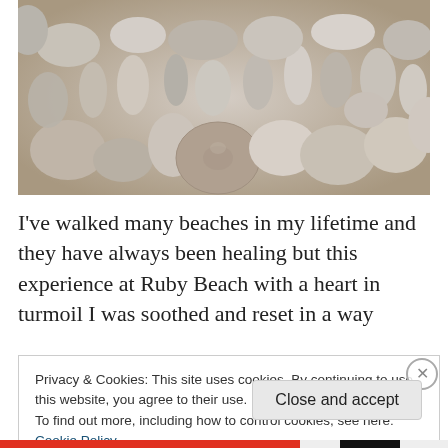[Figure (photo): Close-up photograph of many smooth rounded beach pebbles and stones in various shades of grey, beige, and tan, closely packed together.]
I've walked many beaches in my lifetime and they have always been healing but this experience at Ruby Beach with a heart in turmoil I was soothed and reset in a way
Privacy & Cookies: This site uses cookies. By continuing to use this website, you agree to their use.
To find out more, including how to control cookies, see here: Cookie Policy
Close and accept